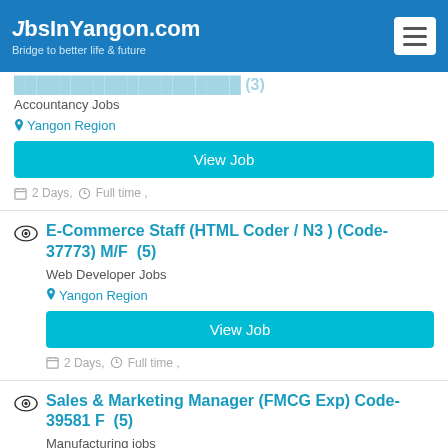JobsInYangon.com — Bridge to better life & future
[partial job title] Accountancy Jobs — Yangon Region — View Job — 2 Days, Full time
E-Commerce Staff (HTML Coder / N3 ) (Code-37773) M/F  (5)
Web Developer Jobs
Yangon Region
View Job
2 Days, Full time ,
Sales & Marketing Manager (FMCG Exp) Code-39581 F  (5)
Manufacturing jobs
Yangon Region